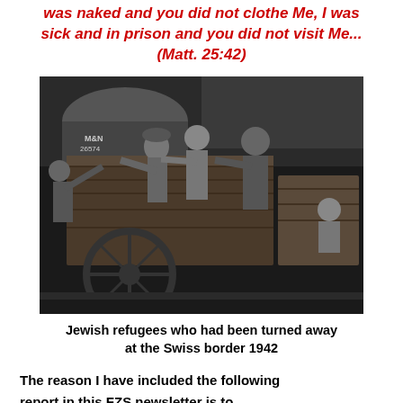was naked and you did not clothe Me, I was sick and in prison and you did not visit Me... (Matt. 25:42)
[Figure (photo): Black and white photograph of Jewish refugees who had been turned away at the Swiss border in 1942. Shows people around a wooden cart or wagon, with a child visible on the right.]
Jewish refugees who had been turned away at the Swiss border 1942
The reason I have included the following report in this FZS newsletter is to highlight the need for us to learn from